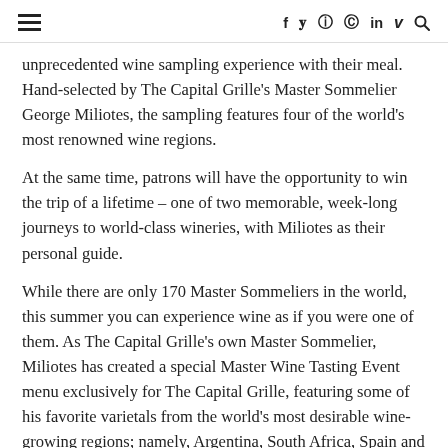≡  f  ⓣ  ⓘ  ⓟ  in  ⓥ  🔍
unprecedented wine sampling experience with their meal. Hand-selected by The Capital Grille's Master Sommelier George Miliotes, the sampling features four of the world's most renowned wine regions.
At the same time, patrons will have the opportunity to win the trip of a lifetime – one of two memorable, week-long journeys to world-class wineries, with Miliotes as their personal guide.
While there are only 170 Master Sommeliers in the world, this summer you can experience wine as if you were one of them. As The Capital Grille's own Master Sommelier, Miliotes has created a special Master Wine Tasting Event menu exclusively for The Capital Grille, featuring some of his favorite varietals from the world's most desirable wine-growing regions; namely, Argentina, South Africa, Spain and the Napa Valley